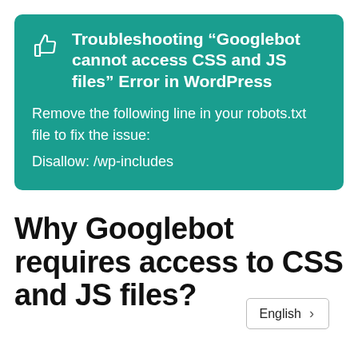[Figure (infographic): Teal tip/callout box with thumbs-up icon, bold white title 'Troubleshooting "Googlebot cannot access CSS and JS files" Error in WordPress', and white body text 'Remove the following line in your robots.txt file to fix the issue: Disallow: /wp-includes']
Why Googlebot requires access to CSS and JS files?
English >